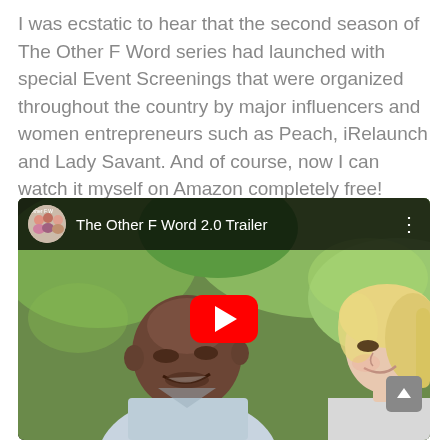I was ecstatic to hear that the second season of The Other F Word series had launched with special Event Screenings that were organized throughout the country by major influencers and women entrepreneurs such as Peach, iRelaunch and Lady Savant. And of course, now I can watch it myself on Amazon completely free!
[Figure (screenshot): Embedded YouTube video player showing 'The Other F Word 2.0 Trailer'. The player has a black top bar with a circular channel thumbnail on the left showing women, the video title in white text, and a three-dot menu icon on the right. The main video area shows two people outdoors with a YouTube play button (red rounded rectangle with white triangle) in the center. A gray scroll-to-top button appears in the bottom right corner.]